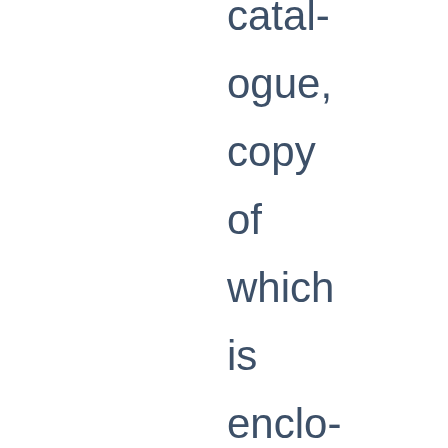catalogue, copy of which is enclosed herewith. Since they consider 17.19 Sq. Ft. = 1.59